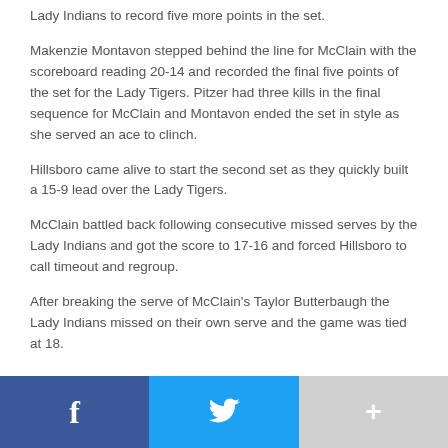Lady Indians to record five more points in the set.
Makenzie Montavon stepped behind the line for McClain with the scoreboard reading 20-14 and recorded the final five points of the set for the Lady Tigers. Pitzer had three kills in the final sequence for McClain and Montavon ended the set in style as she served an ace to clinch.
Hillsboro came alive to start the second set as they quickly built a 15-9 lead over the Lady Tigers.
McClain battled back following consecutive missed serves by the Lady Indians and got the score to 17-16 and forced Hillsboro to call timeout and regroup.
After breaking the serve of McClain's Taylor Butterbaugh the Lady Indians missed on their own serve and the game was tied at 18.
[Figure (other): Social share bar with Facebook (blue), Twitter (cyan), and more (+) buttons]